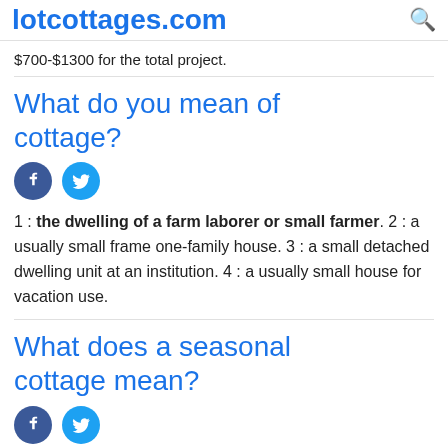lotcottages.com
$700-$1300 for the total project.
What do you mean of cottage?
1 : the dwelling of a farm laborer or small farmer. 2 : a usually small frame one-family house. 3 : a small detached dwelling unit at an institution. 4 : a usually small house for vacation use.
What does a seasonal cottage mean?